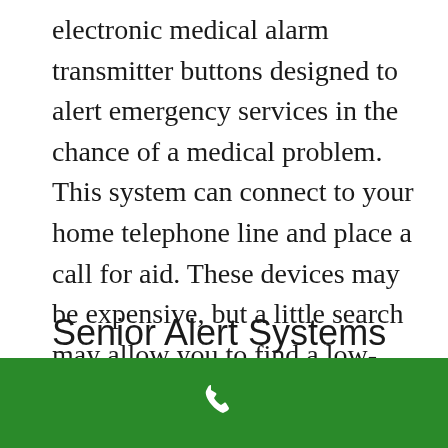electronic medical alarm transmitter buttons designed to alert emergency services in the chance of a medical problem. This system can connect to your home telephone line and place a call for aid. These devices may be expensive, but a little search may allow you to find a low-cost medical alarm system.|
Senior Alert Systems and Medical Alert Devices
[Figure (other): Green footer bar with a white telephone/phone handset icon centered within it]